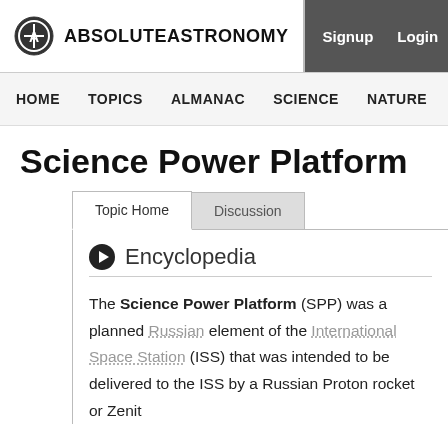ABSOLUTEASTRONOMY | Signup | Login
HOME   TOPICS   ALMANAC   SCIENCE   NATURE   PEOPLE
Science Power Platform
Encyclopedia
The Science Power Platform (SPP) was a planned Russian element of the International Space Station (ISS) that was intended to be delivered to the ISS by a Russian Proton rocket or Zenit